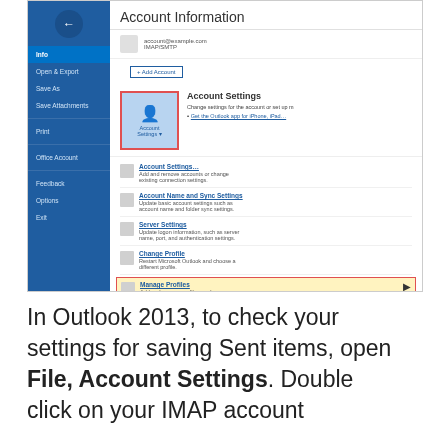[Figure (screenshot): Screenshot of Microsoft Outlook 2013 Account Information screen showing Account Settings menu with 'Manage Profiles' option highlighted in a red box, and 'Account Settings' button also highlighted in red.]
In Outlook 2013, to check your settings for saving Sent items, open File, Account Settings. Double click on your IMAP account